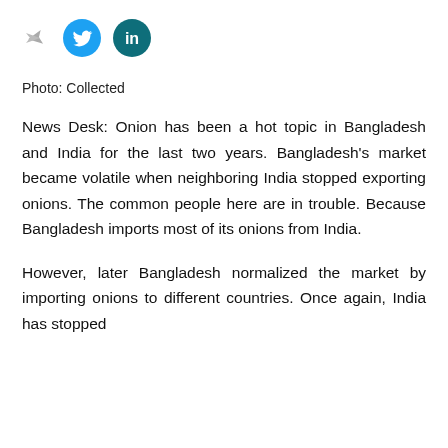[Figure (other): Social sharing icons: a share/forward arrow icon, a Twitter bird icon (light blue circle), and a LinkedIn 'in' icon (dark teal circle)]
Photo: Collected
News Desk: Onion has been a hot topic in Bangladesh and India for the last two years. Bangladesh's market became volatile when neighboring India stopped exporting onions. The common people here are in trouble. Because Bangladesh imports most of its onions from India.
However, later Bangladesh normalized the market by importing onions to different countries. Once again, India has stopped exporting onions. The market here is under...